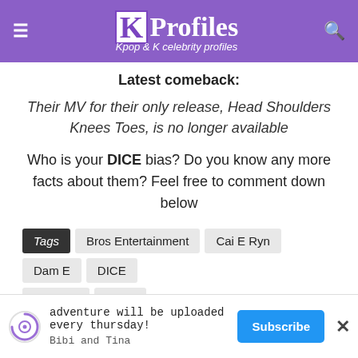KProfiles – Kpop & K celebrity profiles
Latest comeback:
Their MV for their only release, Head Shoulders Knees Toes, is no longer available
Who is your DICE bias? Do you know any more facts about them? Feel free to comment down below
Tags  Bros Entertainment  Cai E Ryn  Dam E  DICE  Hangeul  Yeoul
You may also like
[Figure (photo): Photo strip showing two K-pop group members against a purple/lavender background]
adventure will be uploaded every thursday! Bibi and Tina  Subscribe